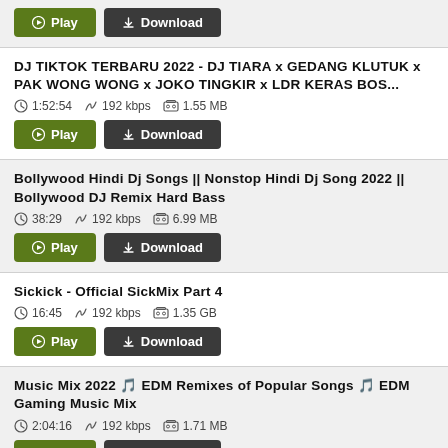Play / Download buttons (top strip)
DJ TIKTOK TERBARU 2022 - DJ TIARA x GEDANG KLUTUK x PAK WONG WONG x JOKO TINGKIR x LDR KERAS BOS...
1:52:54  192 kbps  1.55 MB
Bollywood Hindi Dj Songs || Nonstop Hindi Dj Song 2022 || Bollywood DJ Remix Hard Bass
38:29  192 kbps  6.99 MB
Sickick - Official SickMix Part 4
16:45  192 kbps  1.35 GB
Music Mix 2022 🎵 EDM Remixes of Popular Songs 🎵 EDM Gaming Music Mix
2:04:16  192 kbps  1.71 MB